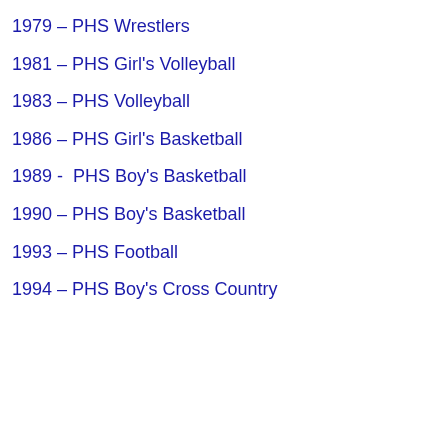1979 – PHS Wrestlers
1981 – PHS Girl's Volleyball
1983 – PHS Volleyball
1986 – PHS Girl's Basketball
1989 -  PHS Boy's Basketball
1990 – PHS Boy's Basketball
1993 – PHS Football
1994 – PHS Boy's Cross Country